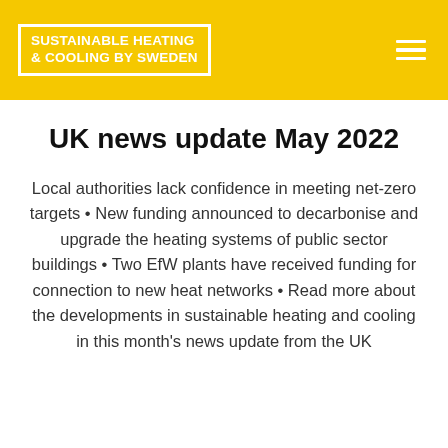SUSTAINABLE HEATING & COOLING BY SWEDEN
UK news update May 2022
Local authorities lack confidence in meeting net-zero targets • New funding announced to decarbonise and upgrade the heating systems of public sector buildings • Two EfW plants have received funding for connection to new heat networks • Read more about the developments in sustainable heating and cooling in this month's news update from the UK